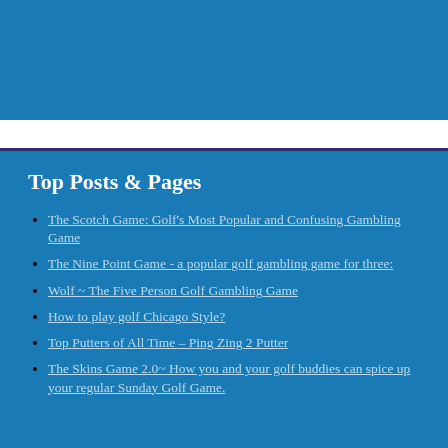[Figure (other): Blue header banner at the top of the page]
Top Posts & Pages
The Scotch Game: Golf's Most Popular and Confusing Gambling Game
The Nine Point Game - a popular golf gambling game for three:
Wolf ~ The Five Person Golf Gambling Game
How to play golf Chicago Style?
Top Putters of All Time – Ping Zing 2 Putter
The Skins Game 2.0~ How you and your golf buddies can spice up your regular Sunday Golf Game.